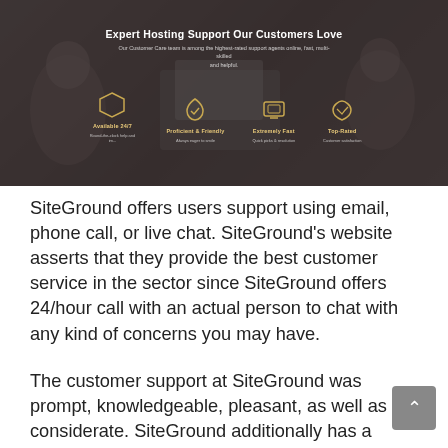[Figure (screenshot): Banner image showing a customer support team office environment with dark overlay. Title reads 'Expert Hosting Support Our Customers Love' with subtitle text. Four icons below for Available 24/7, Proficient & Friendly, Extremely Fast, Top-Rated.]
SiteGround offers users support using email, phone call, or live chat. SiteGround's website asserts that they provide the best customer service in the sector since SiteGround offers 24/hour call with an actual person to chat with any kind of concerns you may have.
The customer support at SiteGround was prompt, knowledgeable, pleasant, as well as considerate. SiteGround additionally has a considerable helpdesk system that includes videos and write-ups on how to make use of